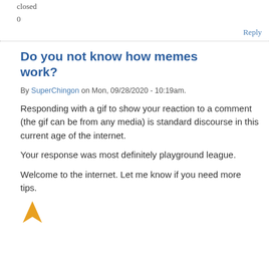closed
0
Reply
Do you not know how memes work?
By SuperChingon on Mon, 09/28/2020 - 10:19am.
Responding with a gif to show your reaction to a comment (the gif can be from any media) is standard discourse in this current age of the internet.
Your response was most definitely playground league.
Welcome to the internet. Let me know if you need more tips.
[Figure (illustration): Partial orange arrow or pointer emoji/icon at bottom of page]